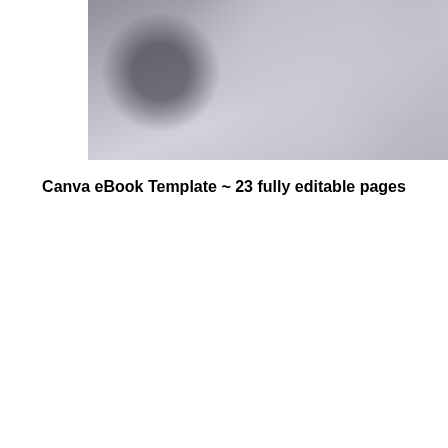[Figure (photo): Blurred/obscured preview image of an eBook template cover, greyscale with a dark circular shape on the left side]
Canva eBook Template ~ 23 fully editable pages
[Figure (photo): Blurred/obscured preview image of interior eBook template pages showing a table of contents or content layout with warm beige and purple toned elements]